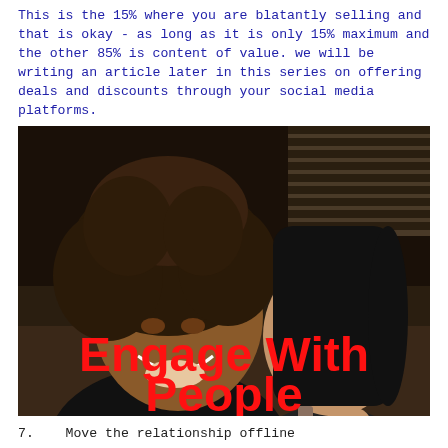This is the 15% where you are blatantly selling and that is okay - as long as it is only 15% maximum and the other 85% is content of value. we will be writing an article later in this series on offering deals and discounts through your social media platforms.
[Figure (photo): Two women sitting together at a social event, one smiling broadly, with overlay text 'Engage With People' in bold red lettering]
7.   Move the relationship offline
This is the second most important part, right after posting valuable content (which is number 1). You do not own Facebook™ nor LinkedIn™, so you have no control of access to the people